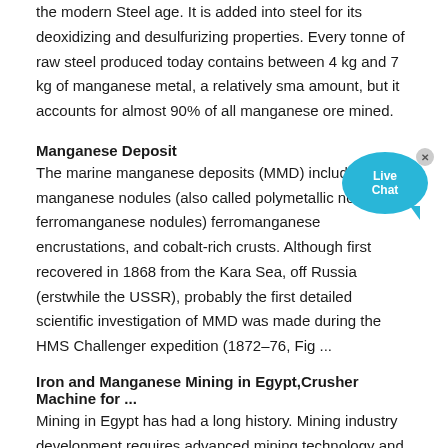the modern Steel age. It is added into steel for its deoxidizing and desulfurizing properties. Every tonne of raw steel produced today contains between 4 kg and 7 kg of manganese metal, a relatively small amount, but it accounts for almost 90% of all manganese ore mined.
Manganese Deposit
The marine manganese deposits (MMD) include manganese nodules (also called polymetallic nodules or ferromanganese nodules), ferromanganese encrustations, and cobalt-rich crusts. Although first recovered in 1868 from the Kara Sea, off Russia (erstwhile the USSR), probably the first detailed scientific investigation of MMD was made during the HMS Challenger expedition (1872–76, Fig ...
Iron and Manganese Mining in Egypt,Crusher Machine for ...
Mining in Egypt has had a long history. Mining industry development requires advanced mining technology and high quality mining equipment. provides complete series of mining equipment for sale in Egypt. ... Indian manganese mining crushing plant equipment for